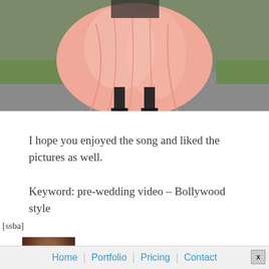[Figure (photo): A person wearing a flowing peach/salmon colored dress, photographed outdoors on a road with green grass in background. Only the lower portion of the body and dress are visible.]
I hope you enjoyed the song and liked the pictures as well.
Keyword: pre-wedding video – Bollywood style
[ssba]
[Figure (photo): Small thumbnail portrait photo partially visible at the bottom.]
Home | Portfolio | Pricing | Contact